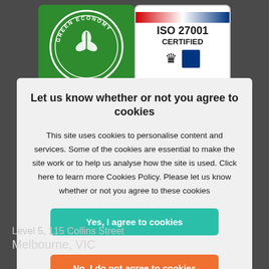[Figure (logo): Green Economy circular logo on green background]
[Figure (logo): ISO 27001 CERTIFIED badge with crown and blue square]
Let us know whether or not you agree to cookies
This site uses cookies to personalise content and services. Some of the cookies are essential to make the site work or to help us analyse how the site is used. Click here to learn more Cookies Policy. Please let us know whether or not you agree to these cookies
Yes, I agree to cookies
No, I do not agree to cookies
Level 5, 115 Collins Street Melbourne, VIC